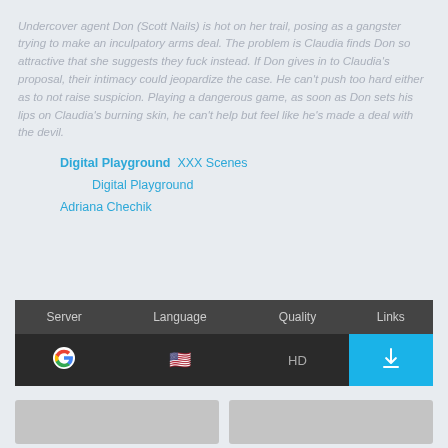Undercover agent Don (Scott Nails) is hot on her trail, posing as a gangster trying to make an inculpatory arms deal. The problem is Claudia finds Don so attractive that she suggests they fuck instead. If Don gives in to Claudia's proposal, their intimacy could jeopardize the case. He can't push too hard either as to not raise suspicion. Playing a dangerous game, as soon as Don sets his lips on Claudia's burning skin, he can't help but feel like he's made a deal with the devil.
Digital Playground  XXX Scenes
Digital Playground
Adriana Chechik
Download
| Server | Language | Quality | Links |
| --- | --- | --- | --- |
| [Google icon] | [US flag] | HD | [Download] |
[Figure (photo): Two thumbnail image placeholders side by side (gray boxes)]